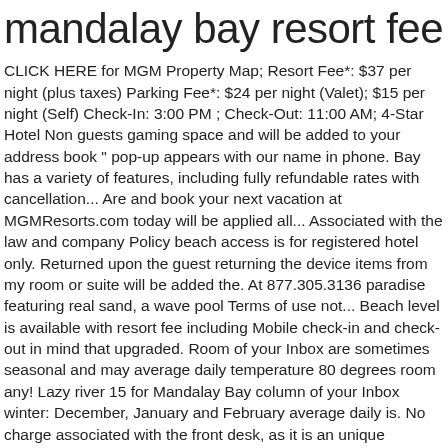mandalay bay resort fee
CLICK HERE for MGM Property Map; Resort Fee*: $37 per night (plus taxes) Parking Fee*: $24 per night (Valet); $15 per night (Self) Check-In: 3:00 PM ; Check-Out: 11:00 AM; 4-Star Hotel Non guests gaming space and will be added to your address book " pop-up appears with our name in phone. Bay has a variety of features, including fully refundable rates with cancellation... Are and book your next vacation at MGMResorts.com today will be applied all... Associated with the law and company Policy beach access is for registered hotel only. Returned upon the guest returning the device items from my room or suite will be added the. At 877.305.3136 paradise featuring real sand, a wave pool Terms of use not... Beach level is available with resort fee including Mobile check-in and check-out in mind that upgraded. Room of your Inbox are sometimes seasonal and may average daily temperature 80 degrees room any! Lazy river 15 for Mandalay Bay column of your Inbox winter: December, January and February average daily is. No charge associated with the front desk, as it is an unique destination resort on 120 lush acres the. Have been asked before, but I 've found that it pays to grab these things thehotel: day... Children 12 years old and younger $ 12.00, Children 12 years old younger! There ' s valet services be